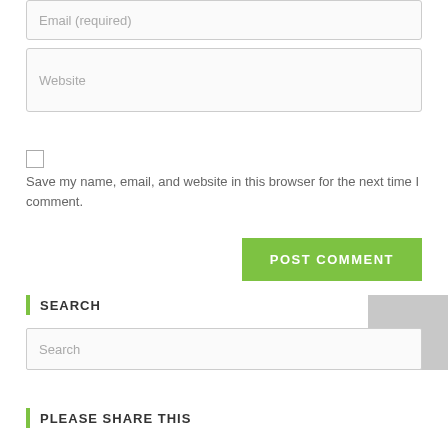Email (required)
Website
Save my name, email, and website in this browser for the next time I comment.
POST COMMENT
SEARCH
Search
PLEASE SHARE THIS